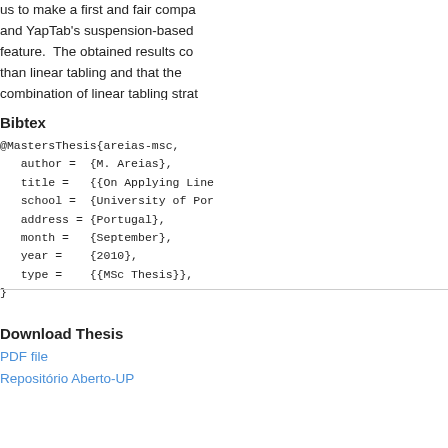us to make a first and fair comp and YapTab's suspension-based feature. The obtained results co than linear tabling and that the combination of linear tabling strat
Bibtex
@MastersThesis{areias-msc,
   author =  {M. Areias},
   title =   {{On Applying Line
   school =  {University of Por
   address = {Portugal},
   month =   {September},
   year =    {2010},
   type =    {{MSc Thesis}},
}
Download Thesis
PDF file
Repositório Aberto-UP